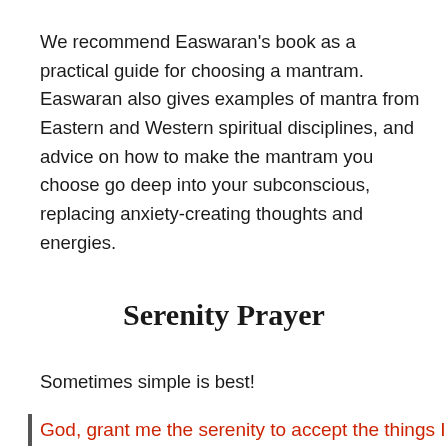We recommend Easwaran's book as a practical guide for choosing a mantram. Easwaran also gives examples of mantra from Eastern and Western spiritual disciplines, and advice on how to make the mantram you choose go deep into your subconscious, replacing anxiety-creating thoughts and energies.
Serenity Prayer
Sometimes simple is best!
God, grant me the serenity to accept the things I